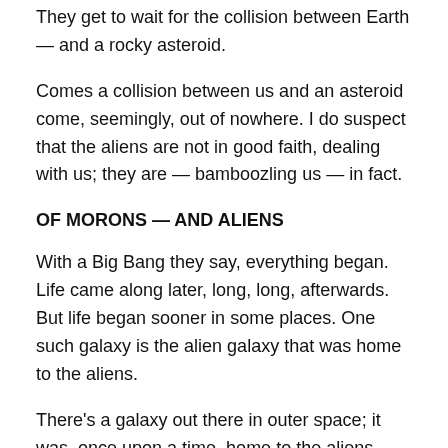They get to wait for the collision between Earth — and a rocky asteroid.
Comes a collision between us and an asteroid come, seemingly, out of nowhere. I do suspect that the aliens are not in good faith, dealing with us; they are — bamboozling us — in fact.
OF MORONS — AND ALIENS
With a Big Bang they say, everything began. Life came along later, long, long, afterwards. But life began sooner in some places. One such galaxy is the alien galaxy that was home to the aliens.
There's a galaxy out there in outer space; it was, once upon a time, home to the aliens. And I wonder: Is it their home still? Or — are they in search of a new home planet